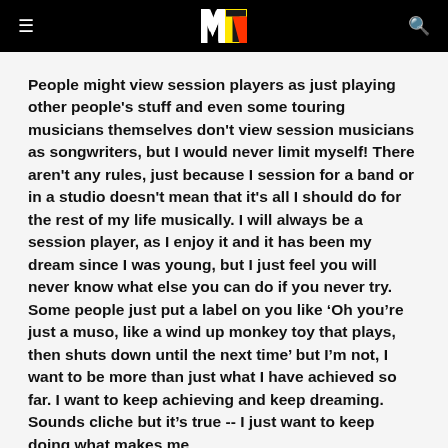MTV
People might view session players as just playing other people's stuff and even some touring musicians themselves don't view session musicians as songwriters, but I would never limit myself! There aren't any rules, just because I session for a band or in a studio doesn't mean that it's all I should do for the rest of my life musically. I will always be a session player, as I enjoy it and it has been my dream since I was young, but I just feel you will never know what else you can do if you never try. Some people just put a label on you like 'Oh you're just a muso, like a wind up monkey toy that plays, then shuts down until the next time' but I'm not, I want to be more than just what I have achieved so far. I want to keep achieving and keep dreaming. Sounds cliche but it's true -- I just want to keep doing what makes me